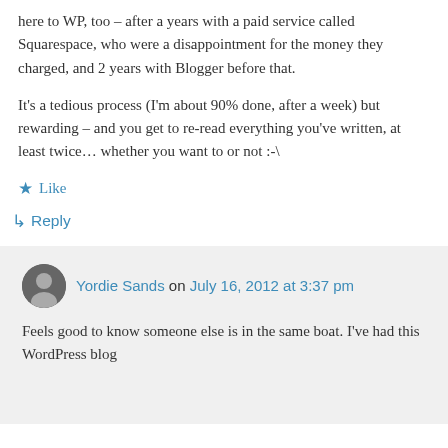here to WP, too – after a years with a paid service called Squarespace, who were a disappointment for the money they charged, and 2 years with Blogger before that.
It's a tedious process (I'm about 90% done, after a week) but rewarding – and you get to re-read everything you've written, at least twice… whether you want to or not :-\
Like
Reply
Yordie Sands on July 16, 2012 at 3:37 pm
Feels good to know someone else is in the same boat. I've had this WordPress blog…